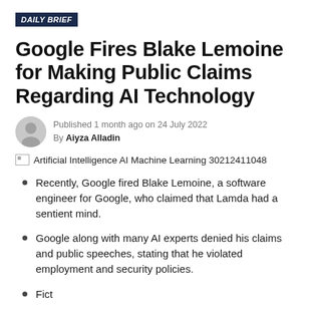DAILY BRIEF
Google Fires Blake Lemoine for Making Public Claims Regarding AI Technology
Published 1 month ago on 24 July 2022
By Aiyza Alladin
[Figure (photo): Broken image placeholder with label: Artificial Intelligence AI Machine Learning 30212411048]
Recently, Google fired Blake Lemoine, a software engineer for Google, who claimed that Lamda had a sentient mind.
Google along with many AI experts denied his claims and public speeches, stating that he violated employment and security policies.
(truncated — cut off at bottom of page)